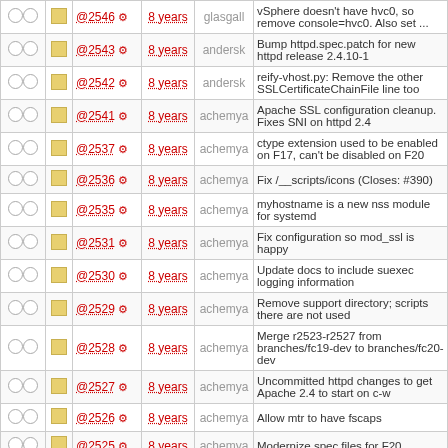|  |  |  | Rev | Age | Author | Log Message |
| --- | --- | --- | --- | --- | --- | --- |
| ○ ○ | ■ | @2546 ⚙ | 8 years | glasgall | vSphere doesn't have hvc0, so remove console=hvc0. Also set ... |
| ○ ○ | ■ | @2543 ⚙ | 8 years | andersk | Bump httpd.spec.patch for new httpd release 2.4.10-1 |
| ○ ○ | ■ | @2542 ⚙ | 8 years | andersk | reify-vhost.py: Remove the other SSLCertificateChainFile line too |
| ○ ○ | ■ | @2541 ⚙ | 8 years | achemya | Apache SSL configuration cleanup. Fixes SNI on httpd 2.4 |
| ○ ○ | ■ | @2537 ⚙ | 8 years | achemya | ctype extension used to be enabled on F17, can't be disabled on F20 |
| ○ ○ | ■ | @2536 ⚙ | 8 years | achemya | Fix /__scripts/icons (Closes: #390) |
| ○ ○ | ■ | @2535 ⚙ | 8 years | achemya | myhostname is a new nss module for systemd |
| ○ ○ | ■ | @2531 ⚙ | 8 years | achemya | Fix configuration so mod_ssl is happy |
| ○ ○ | ■ | @2530 ⚙ | 8 years | achemya | Update docs to include suexec logging information |
| ○ ○ | ■ | @2529 ⚙ | 8 years | achemya | Remove support directory; scripts there are not used |
| ○ ○ | ■ | @2528 ⚙ | 8 years | achemya | Merge r2523-r2527 from branches/fc19-dev to branches/fc20-dev |
| ○ ○ | ■ | @2527 ⚙ | 8 years | achemya | Uncommitted httpd changes to get Apache 2.4 to start on c-w |
| ○ ○ | ■ | @2526 ⚙ | 8 years | achemya | Allow mtr to have fscaps |
| ○ ○ | ■ | @2525 ⚙ | 8 years | achemya | Modernize spec files for F20 |
| ○ ○ | ■ | @2524 ⚙ | 8 years | achemya | Update scripts repo to F20... |